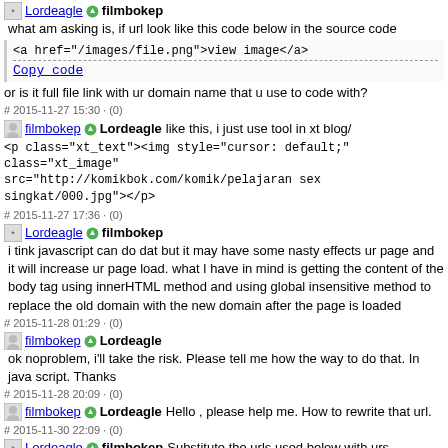* Lordeagle  filmbokep  what am asking is, if url look like this code below in the source code
<a href="/images/file.png">view image</a>
Copy code
or is it full file link with ur domain name that u use to code with?
# 2015-11-27 15:30 · (0)
filmbokep  Lordeagle  like this, i just use tool in xt blog/
<p class="xt_text"><img style="cursor: default;" class="xt_image" src="http://komikbok.com/komik/pelajaran sex singkat/000.jpg"></p>
# 2015-11-27 17:36 · (0)
* Lordeagle  filmbokep  i tink javascript can do dat but it may have some nasty effects ur page and it will increase ur page load. what I have in mind is getting the content of the body tag using innerHTML method and using global insensitive method to replace the old domain with the new domain after the page is loaded
# 2015-11-28 01:29 · (0)
filmbokep  Lordeagle  ok noproblem, i'll take the risk. Please tell me how the way to do that. In java script. Thanks
# 2015-11-28 20:09 · (0)
filmbokep  Lordeagle  Hello , please help me. How to rewrite that url.
# 2015-11-30 22:09 · (0)
* Lordeagle  filmbokep  Substitute the urls used below with urs
<script>
var b=document.body;
b.onload=rewriteURL();
function rewriteURL(){
var c=b.innerHTML.replace(/eaglenet.xtgem.com/gi,'lordeagle.yn.lt');
b.innerHTML=c;}